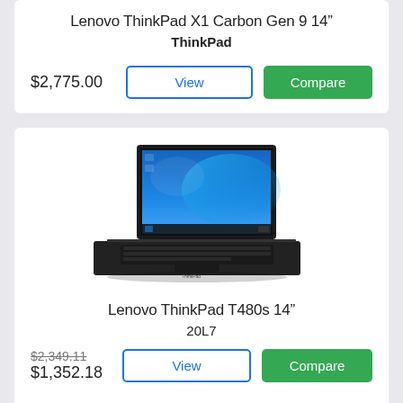Lenovo ThinkPad X1 Carbon Gen 9 14"
ThinkPad
$2,775.00
[Figure (screenshot): Lenovo ThinkPad T480s laptop open showing Windows 10 desktop]
Lenovo ThinkPad T480s 14"
20L7
$2,349.11 (strikethrough) $1,352.18